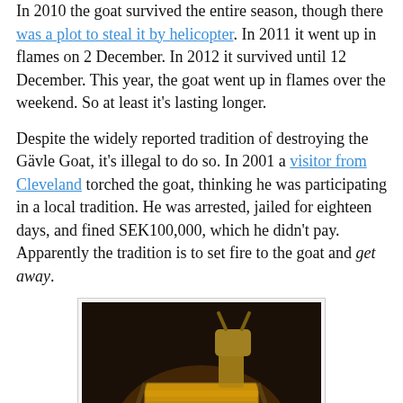In 2010 the goat survived the entire season, though there was a plot to steal it by helicopter. In 2011 it went up in flames on 2 December. In 2012 it survived until 12 December. This year, the goat went up in flames over the weekend. So at least it's lasting longer.
Despite the widely reported tradition of destroying the Gävle Goat, it's illegal to do so. In 2001 a visitor from Cleveland torched the goat, thinking he was participating in a local tradition. He was arrested, jailed for eighteen days, and fined SEK100,000, which he didn't pay. Apparently the tradition is to set fire to the goat and get away.
[Figure (photo): A large straw goat structure engulfed in bright orange and yellow flames at night, with snow visible on the ground around it.]